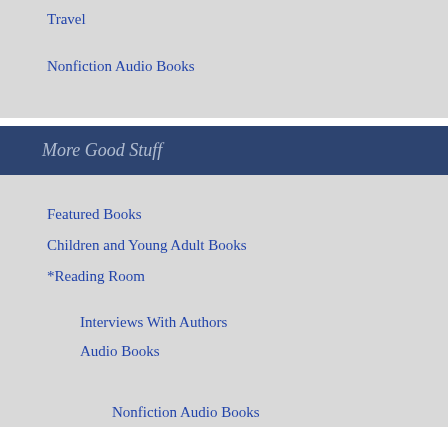Travel
Nonfiction Audio Books
More Good Stuff
Featured Books
Children and Young Adult Books
*Reading Room
Interviews With Authors
Audio Books
Nonfiction Audio Books